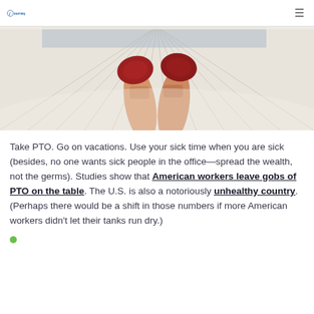journey
[Figure (photo): Person lying in a white hammock, visible from the knees down, wearing red sneakers/shoes, legs crossed, outdoors with sky in background.]
Take PTO. Go on vacations. Use your sick time when you are sick (besides, no one wants sick people in the office—spread the wealth, not the germs). Studies show that American workers leave gobs of PTO on the table. The U.S. is also a notoriously unhealthy country. (Perhaps there would be a shift in those numbers if more American workers didn't let their tanks run dry.)